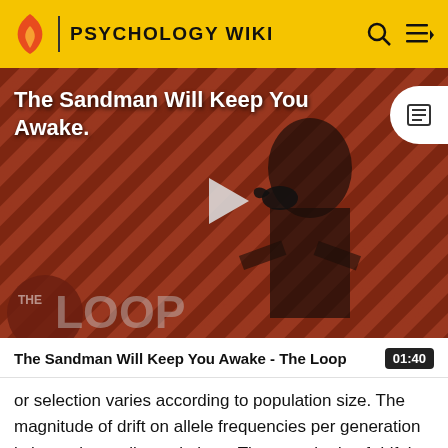PSYCHOLOGY WIKI
[Figure (screenshot): Video thumbnail showing a dark-cloaked figure against a red and black diagonal striped background with 'THE LOOP' watermark and play button. Title overlay reads 'The Sandman Will Keep You Awake.']
The Sandman Will Keep You Awake - The Loop 01:40
or selection varies according to population size. The magnitude of drift on allele frequencies per generation is larger in small populations. The magnitude of drift is large